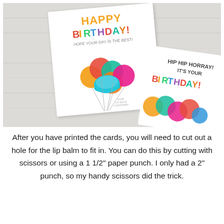[Figure (photo): Two birthday cards on a light wood surface. The left card says 'HAPPY BIRTHDAY! HOPE YOUR DAY IS THE BEST!' with colorful balloons and a teal EOS lip balm product placed where a balloon would be. The right card says 'HIP HIP HORRAY! IT'S YOUR BIRTHDAY!' with colorful balloons illustrated on it.]
After you have printed the cards, you will need to cut out a hole for the lip balm to fit in. You can do this by cutting with scissors or using a 1 1/2" paper punch. I only had a 2" punch, so my handy scissors did the trick.